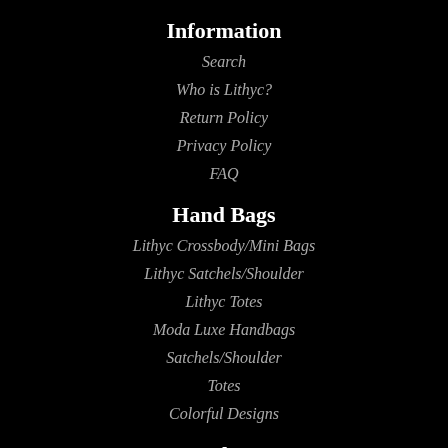Information
Search
Who is Lithyc?
Return Policy
Privacy Policy
FAQ
Hand Bags
Lithyc Crossbody/Mini Bags
Lithyc Satchels/Shoulder
Lithyc Totes
Moda Luxe Handbags
Satchels/Shoulder
Totes
Colorful Designs
Products